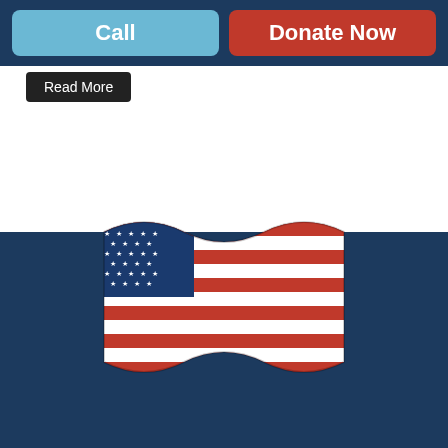Call
Donate Now
Read More
[Figure (illustration): Waving American flag illustration with stars and red, white, and blue stripes]
CONTACT INFORMATION
Your donation will be assigned to the nearest auction house who will contact you to schedule the pickup of your vehicle. If you have any questions regarding the donation process please call 1-877-646-1976 for an experienced representative who will walk